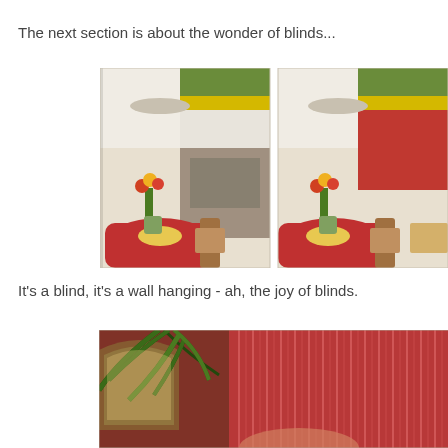The next section is about the wonder of blinds...
[Figure (photo): Two side-by-side photos of a dining room with colorful horizontal blinds (green, yellow, red) in the background. A round table with red tablecloth, yellow flowers, and chairs is visible in both shots, with slightly different blind positions.]
It's a blind, it's a wall hanging - ah, the joy of blinds.
[Figure (photo): A room interior showing vertical red/pink blinds or beaded curtains along the wall, with a large tropical plant (palm leaves) in the foreground and an arched window visible on the left.]